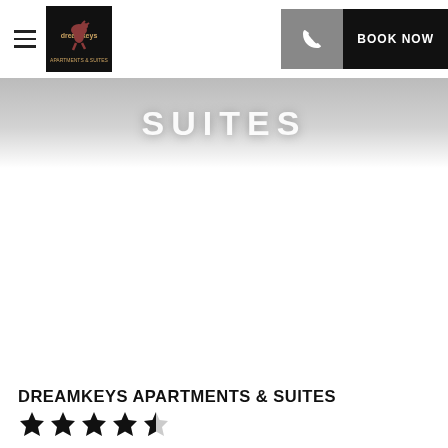BOOK NOW
SUITES
[Figure (photo): Large white/empty image area below the SUITES banner, likely a hotel room or apartment photo that did not load]
DREAMKEYS APARTMENTS & SUITES
[Figure (other): 4.5 star rating shown as 4 filled stars and 1 half star]